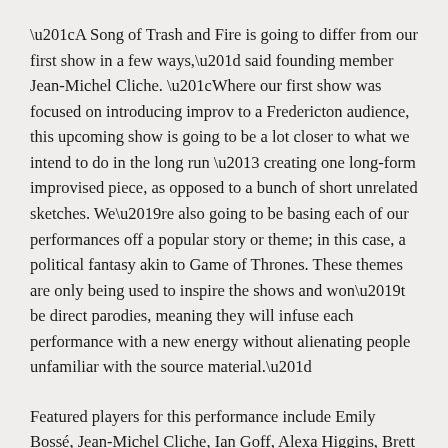“A Song of Trash and Fire is going to differ from our first show in a few ways,” said founding member Jean-Michel Cliche. “Where our first show was focused on introducing improv to a Fredericton audience, this upcoming show is going to be a lot closer to what we intend to do in the long run – creating one long-form improvised piece, as opposed to a bunch of short unrelated sketches. We’re also going to be basing each of our performances off a popular story or theme; in this case, a political fantasy akin to Game of Thrones. These themes are only being used to inspire the shows and won’t be direct parodies, meaning they will infuse each performance with a new energy without alienating people unfamiliar with the source material.”
Featured players for this performance include Emily Bossé, Jean-Michel Cliche, Ian Goff, Alexa Higgins, Brett Loughery and Gordon Mihan.
“While the format is slightly different, the atmosphere are